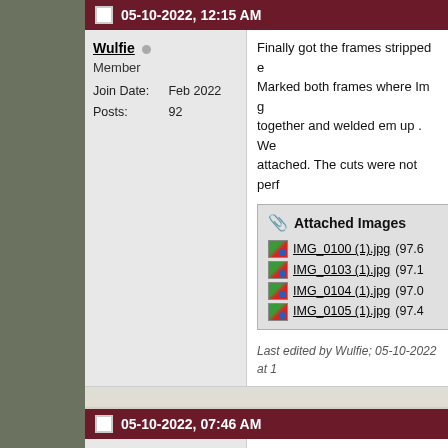05-10-2022, 12:15 AM
Wulfie
Member
Join Date: Feb 2022
Posts: 92
Finally got the frames stripped e... Marked both frames where Im g... together and welded em up . We... attached. The cuts were not perf...
Attached Images
IMG_0100 (1).jpg (97.6
IMG_0103 (1).jpg (97.1
IMG_0104 (1).jpg (97.0
IMG_0105 (1).jpg (97.4
Last edited by Wulfie; 05-10-2022 at 1...
05-10-2022, 07:46 AM
bmorgil
Super Moderator
Looking good Wulfie! Its healed. successful spinal transplant.